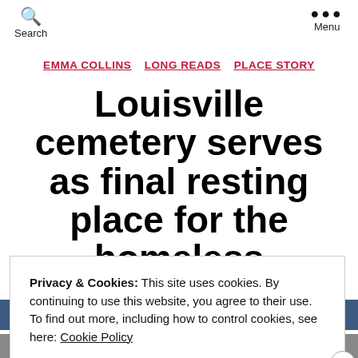Search | Menu
EMMA COLLINS  LONG READS  PLACE STORY
Louisville cemetery serves as final resting place for the homeless
Privacy & Cookies: This site uses cookies. By continuing to use this website, you agree to their use. To find out more, including how to control cookies, see here: Cookie Policy
CLOSE AND ACCEPT